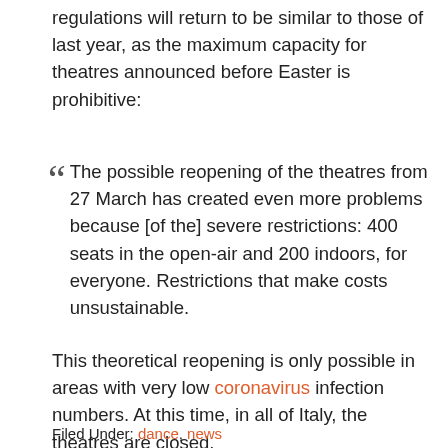regulations will return to be similar to those of last year, as the maximum capacity for theatres announced before Easter is prohibitive:
The possible reopening of the theatres from 27 March has created even more problems because [of the] severe restrictions: 400 seats in the open-air and 200 indoors, for everyone. Restrictions that make costs unsustainable.
This theoretical reopening is only possible in areas with very low coronavirus infection numbers. At this time, in all of Italy, the theatres are closed.
[Figure (other): Social media share buttons: Facebook, Twitter, Pinterest (with 1 notification), LinkedIn, WhatsApp, Telegram. A chat bubble icon at bottom left.]
Filed Under: dance, news